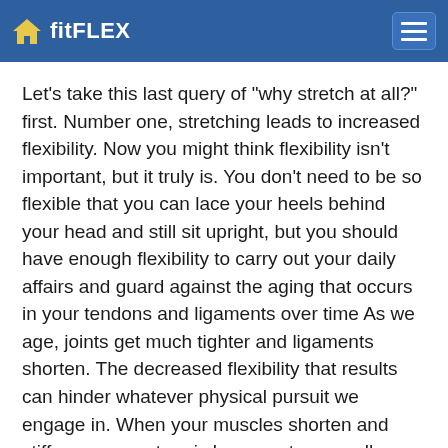fitFLEX
Let's take this last query of "why stretch at all?" first. Number one, stretching leads to increased flexibility. Now you might think flexibility isn't important, but it truly is. You don't need to be so flexible that you can lace your heels behind your head and still sit upright, but you should have enough flexibility to carry out your daily affairs and guard against the aging that occurs in your tendons and ligaments over time As we age, joints get much tighter and ligaments shorten. The decreased flexibility that results can hinder whatever physical pursuit we engage in. When your muscles shorten and stiffen, your posture is less erect, you walk more spifly, and you have trouble doing the most basic movements because your entire skeletal system has been thrown